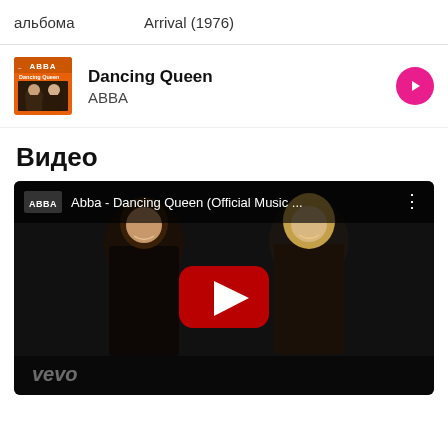альбома  Arrival (1976)
[Figure (other): ABBA Dancing Queen album art - orange background with ABBA logo and band members]
Dancing Queen
ABBA
Видео
[Figure (screenshot): YouTube video thumbnail: Abba - Dancing Queen (Official Music ... with vevo branding, showing two female performers with YouTube play button overlay]